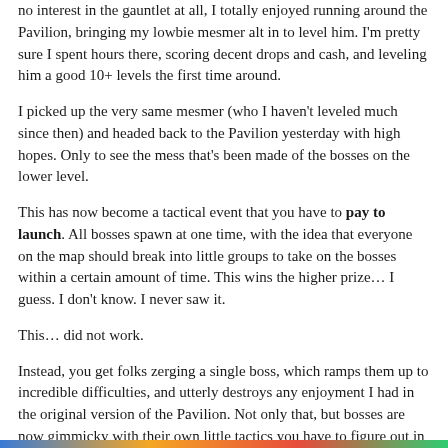no interest in the gauntlet at all, I totally enjoyed running around the Pavilion, bringing my lowbie mesmer alt in to level him. I'm pretty sure I spent hours there, scoring decent drops and cash, and leveling him a good 10+ levels the first time around.
I picked up the very same mesmer (who I haven't leveled much since then) and headed back to the Pavilion yesterday with high hopes. Only to see the mess that's been made of the bosses on the lower level.
This has now become a tactical event that you have to pay to launch. All bosses spawn at one time, with the idea that everyone on the map should break into little groups to take on the bosses within a certain amount of time. This wins the higher prize… I guess. I don't know. I never saw it.
This… did not work.
Instead, you get folks zerging a single boss, which ramps them up to incredible difficulties, and utterly destroys any enjoyment I had in the original version of the Pavilion. Not only that, but bosses are now gimmicky with their own little tactics you have to figure out in order to beat them. Some of those gimmicks weren't readily apparent — when you see a healing turret, yes, you kill it. But what the heck am I supposed to do with piles of bird seed?